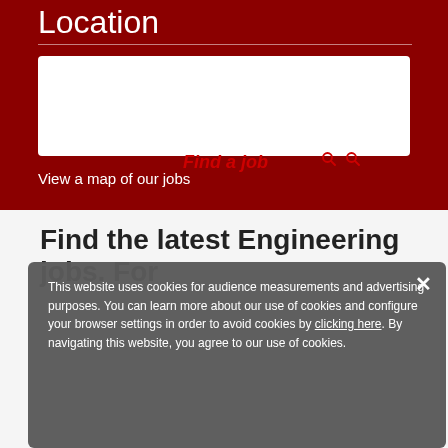Location
Find a job
View a map of our jobs
Find the latest Engineering jobs. For
This website uses cookies for audience measurements and advertising purposes. You can learn more about our use of cookies and configure your browser settings in order to avoid cookies by clicking here. By navigating this website, you agree to our use of cookies.